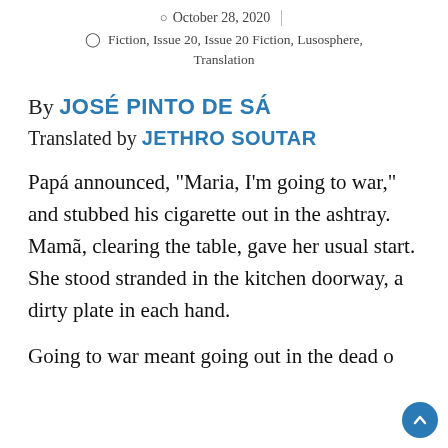October 28, 2020
Fiction, Issue 20, Issue 20 Fiction, Lusosphere, Translation
By JOSÉ PINTO DE SÁ
Translated by JETHRO SOUTAR
Papá announced, “Maria, I’m going to war,” and stubbed his cigarette out in the ashtray. Mamã, clearing the table, gave her usual start. She stood stranded in the kitchen doorway, a dirty plate in each hand.
Going to war meant going out in the dead of night to—